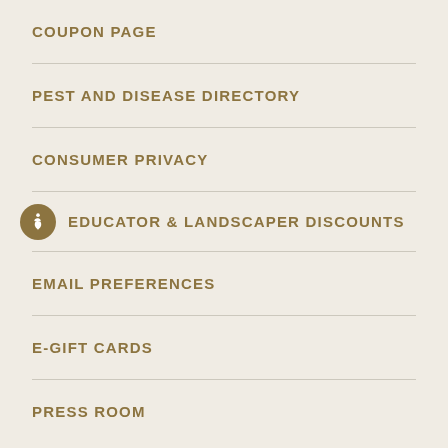COUPON PAGE
PEST AND DISEASE DIRECTORY
CONSUMER PRIVACY
EDUCATOR & LANDSCAPER DISCOUNTS
EMAIL PREFERENCES
E-GIFT CARDS
PRESS ROOM